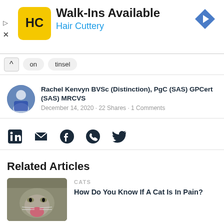[Figure (advertisement): Hair Cuttery advertisement banner with yellow HC logo, Walk-Ins Available headline, blue arrow navigation icon, and ad controls]
on   tinsel
Rachel Kenvyn BVSc (Distinction), PgC (SAS) GPCert (SAS) MRCVS
December 14, 2020 · 22 Shares · 1 Comments
[Figure (infographic): Social sharing icons: LinkedIn, email, Facebook, WhatsApp, Twitter]
Related Articles
[Figure (photo): Cat with mouth open wide, yawning or hissing, grey tabby]
CATS
How Do You Know If A Cat Is In Pain?